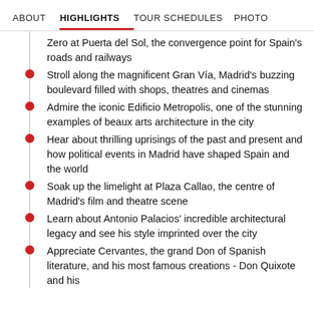ABOUT   HIGHLIGHTS   TOUR SCHEDULES   PHOTO
Zero at Puerta del Sol, the convergence point for Spain's roads and railways
Stroll along the magnificent Gran Vía, Madrid's buzzing boulevard filled with shops, theatres and cinemas
Admire the iconic Edificio Metropolis, one of the stunning examples of beaux arts architecture in the city
Hear about thrilling uprisings of the past and present and how political events in Madrid have shaped Spain and the world
Soak up the limelight at Plaza Callao, the centre of Madrid's film and theatre scene
Learn about Antonio Palacios' incredible architectural legacy and see his style imprinted over the city
Appreciate Cervantes, the grand Don of Spanish literature, and his most famous creations - Don Quixote and his